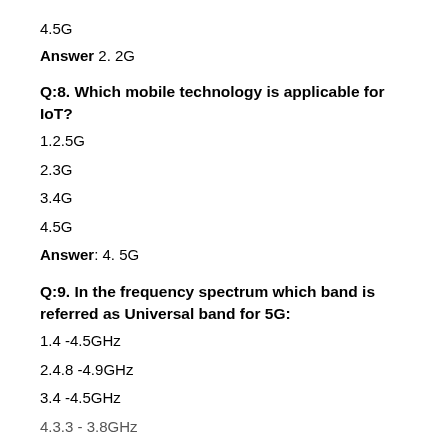4.5G
Answer 2. 2G
Q:8. Which mobile technology is applicable for IoT?
1.2.5G
2.3G
3.4G
4.5G
Answer: 4. 5G
Q:9. In the frequency spectrum which band is referred as Universal band for 5G:
1.4 -4.5GHz
2.4.8 -4.9GHz
3.4 -4.5GHz
4.3.3 - 3.8GHz